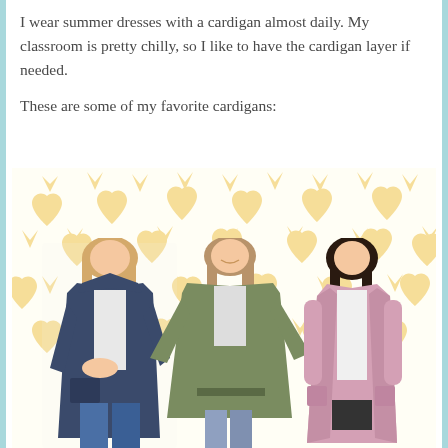I wear summer dresses with a cardigan almost daily. My classroom is pretty chilly, so I like to have the cardigan layer if needed.

These are some of my favorite cardigans:
[Figure (photo): Three women modeling cardigans on a decorative background with yellow heart pattern. Left: woman in navy blue hooded fuzzy cardigan with jeans. Center: woman in olive green oversized poncho-style cardigan. Right: woman in pink long open-front cardigan with shorts.]